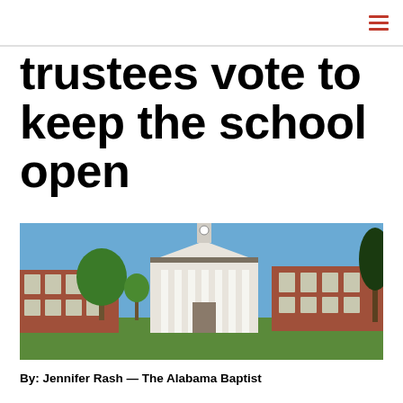trustees vote to keep the school open
[Figure (photo): A brick university building with white columns and a central clock tower, surrounded by green trees and a lawn under a blue sky.]
By: Jennifer Rash — The Alabama Baptist